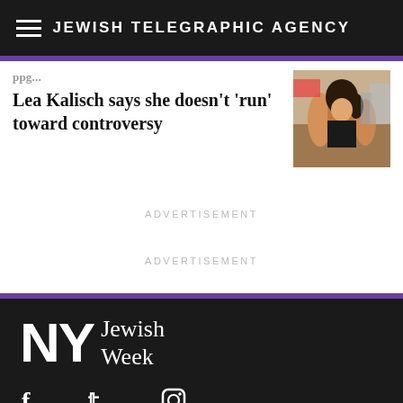JEWISH TELEGRAPHIC AGENCY
Lea Kalisch says she doesn't 'run' toward controversy
[Figure (photo): Photo of a woman in an outdoor setting]
ADVERTISEMENT
ADVERTISEMENT
[Figure (logo): NY Jewish Week logo]
Social media icons: Facebook, Twitter, Instagram